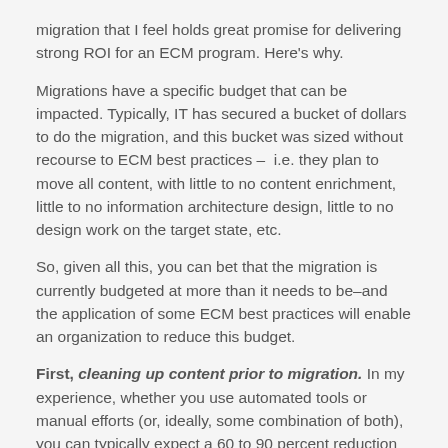migration that I feel holds great promise for delivering strong ROI for an ECM program. Here's why.
Migrations have a specific budget that can be impacted. Typically, IT has secured a bucket of dollars to do the migration, and this bucket was sized without recourse to ECM best practices – i.e. they plan to move all content, with little to no content enrichment, little to no information architecture design, little to no design work on the target state, etc.
So, given all this, you can bet that the migration is currently budgeted at more than it needs to be–and the application of some ECM best practices will enable an organization to reduce this budget.
First, cleaning up content prior to migration. In my experience, whether you use automated tools or manual efforts (or, ideally, some combination of both), you can typically expect a 60 to 90 percent reduction of content to be migrated by excluding one or more of the following categories: